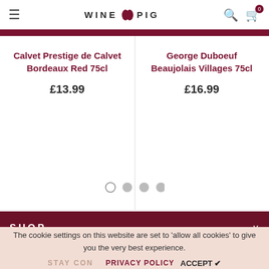Wine Pig
Calvet Prestige de Calvet Bordeaux Red 75cl
£13.99
George Duboeuf Beaujolais Villages 75cl
£16.99
SHOP
INFORMATION
The cookie settings on this website are set to 'allow all cookies' to give you the very best experience.
STAY CONNECTED
PRIVACY POLICY   ACCEPT ✔